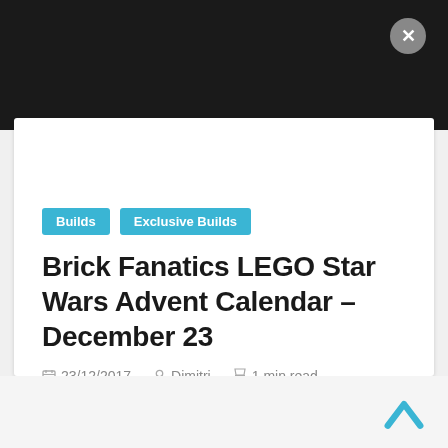[Figure (screenshot): Black top bar with a circular grey close button (×) in the top right corner]
Builds   Exclusive Builds
Brick Fanatics LEGO Star Wars Advent Calendar – December 23
23/12/2017   Dimitri   1 min read